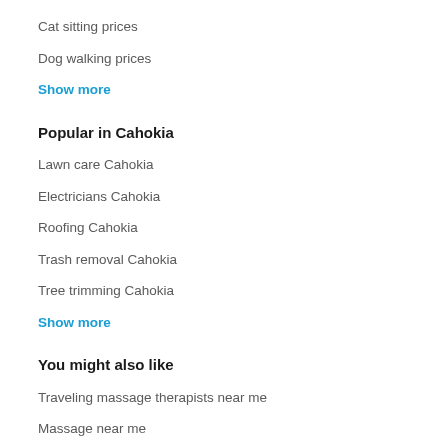Cat sitting prices
Dog walking prices
Show more
Popular in Cahokia
Lawn care Cahokia
Electricians Cahokia
Roofing Cahokia
Trash removal Cahokia
Tree trimming Cahokia
Show more
You might also like
Traveling massage therapists near me
Massage near me
Home massage services near me